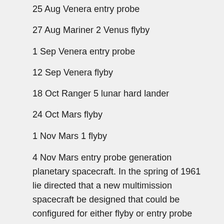25 Aug Venera entry probe
27 Aug Mariner 2 Venus flyby
1 Sep Venera entry probe
12 Sep Venera flyby
18 Oct Ranger 5 lunar hard lander
24 Oct Mars flyby
1 Nov Mars 1 flyby
4 Nov Mars entry probe generation planetary spacecraft. In the spring of 1961 lie directed that a new multimission spacecraft be designed that could be configured for either flyby or entry probe missions at either Mars or Venus. This new scries was the first modular interplanetary spacecraft, with a standardized multipurpose ‘orbital’ module (in the US vernacular this was a carrier vehicle) to guide the spacecraft to either planet, and a separate module to carry a science